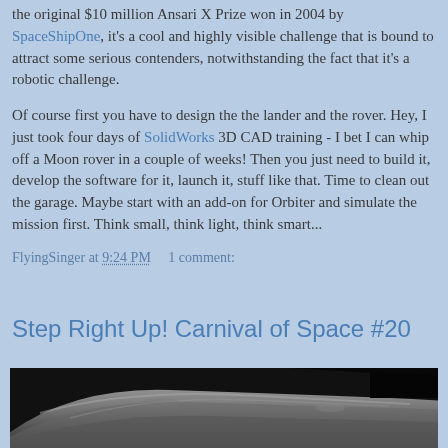the original $10 million Ansari X Prize won in 2004 by SpaceShipOne, it's a cool and highly visible challenge that is bound to attract some serious contenders, notwithstanding the fact that it's a robotic challenge.
Of course first you have to design the the lander and the rover. Hey, I just took four days of SolidWorks 3D CAD training - I bet I can whip off a Moon rover in a couple of weeks! Then you just need to build it, develop the software for it, launch it, stuff like that. Time to clean out the garage. Maybe start with an add-on for Orbiter and simulate the mission first. Think small, think light, think smart...
FlyingSinger at 9:24 PM    1 comment:
Step Right Up! Carnival of Space #20
[Figure (photo): Black and white photograph showing a lunar or planetary surface with rolling terrain and horizon against black space]